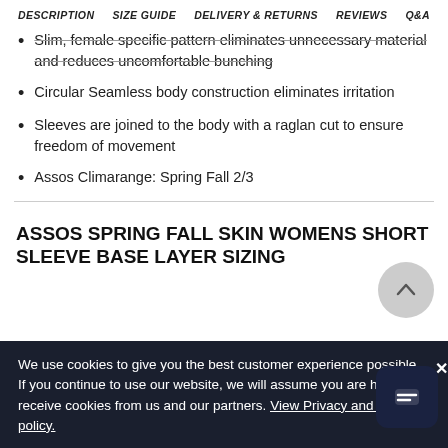DESCRIPTION   SIZE GUIDE   DELIVERY & RETURNS   REVIEWS   Q&A
Slim, female specific pattern eliminates unnecessary material and reduces uncomfortable bunching
Circular Seamless body construction eliminates irritation
Sleeves are joined to the body with a raglan cut to ensure freedom of movement
Assos Climarange: Spring Fall 2/3
ASSOS SPRING FALL SKIN WOMENS SHORT SLEEVE BASE LAYER SIZING
We use cookies to give you the best customer experience possible. If you continue to use our website, we will assume you are happy to receive cookies from us and our partners. View Privacy and Cookie policy.